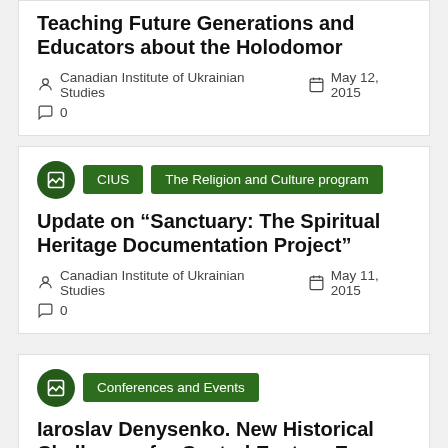Teaching Future Generations and Educators about the Holodomor
Canadian Institute of Ukrainian Studies   May 12, 2015   0
CIUS   The Religion and Culture program
Update on “Sanctuary: The Spiritual Heritage Documentation Project”
Canadian Institute of Ukrainian Studies   May 11, 2015   0
Conferences and Events
Iaroslav Denysenko. New Historical Challenges for Central Eastern Europe: